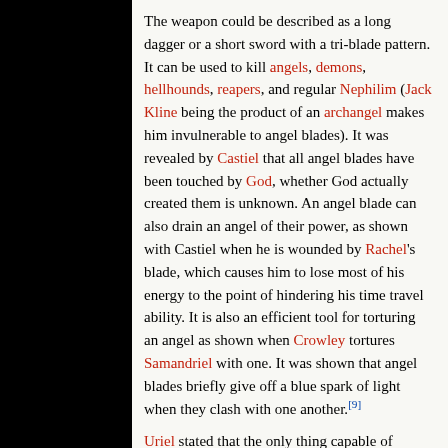The weapon could be described as a long dagger or a short sword with a tri-blade pattern. It can be used to kill angels, demons, hellhounds, reapers, and regular Nephilim (Jack Kline being the product of an archangel makes him invulnerable to angel blades). It was revealed by Castiel that all angel blades have been touched by God, whether God actually created them is unknown. An angel blade can also drain an angel of their power, as shown with Castiel when he is wounded by Rachel's blade, which causes him to lose most of his energy to the point of hindering his time travel ability. It is also an efficient tool for torturing an angel as shown when Crowley tortures Samandriel with one. It was shown that angel blades briefly give off a blue spark of light when they clash with one another.[9]
Uriel stated that the only thing capable of killing an angel is another angel, possibly because these blades were exclusive to angels at the time.[1] The blades are still effective in the hands of a human or demon. Castiel gives his